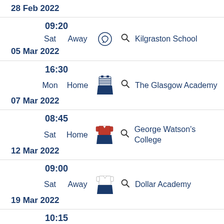28 Feb 2022
09:20
Sat  Away  Kilgraston School
05 Mar 2022
16:30
Mon  Home  The Glasgow Academy
07 Mar 2022
08:45
Sat  Home  George Watson's College
12 Mar 2022
09:00
Sat  Away  Dollar Academy
19 Mar 2022
10:15